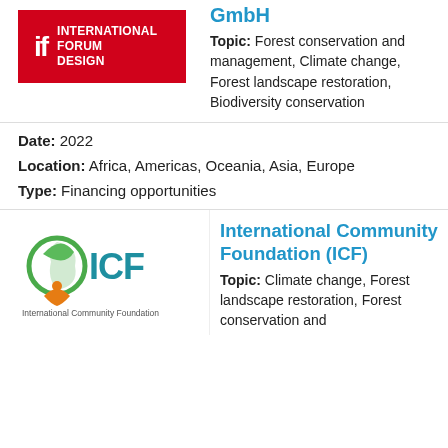GmbH
Topic: Forest conservation and management, Climate change, Forest landscape restoration, Biodiversity conservation
Date: 2022
Location: Africa, Americas, Oceania, Asia, Europe
Type: Financing opportunities
[Figure (logo): iF International Forum Design logo — red rectangle with white 'iF' mark and 'INTERNATIONAL FORUM DESIGN' text]
International Community Foundation (ICF)
Topic: Climate change, Forest landscape restoration, Forest conservation and
[Figure (logo): ICF International Community Foundation logo — circular green/orange leaf icon with teal ICF text and tagline]